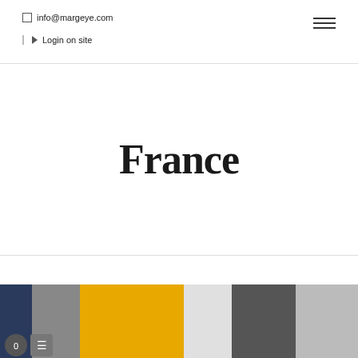info@margeye.com
Login on site
France
[Figure (photo): Strip of fashion/lifestyle photos at the bottom of the page showing people in colorful clothing including yellow and dark outfits]